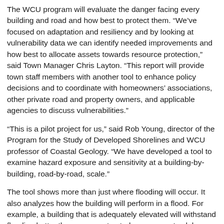The WCU program will evaluate the danger facing every building and road and how best to protect them. “We’ve focused on adaptation and resiliency and by looking at vulnerability data we can identify needed improvements and how best to allocate assets towards resource protection,” said Town Manager Chris Layton. “This report will provide town staff members with another tool to enhance policy decisions and to coordinate with homeowners’ associations, other private road and property owners, and applicable agencies to discuss vulnerabilities.”
“This is a pilot project for us,” said Rob Young, director of the Program for the Study of Developed Shorelines and WCU professor of Coastal Geology. “We have developed a tool to examine hazard exposure and sensitivity at a building-by-building, road-by-road, scale.”
The tool shows more than just where flooding will occur. It also analyzes how the building will perform in a flood. For example, a building that is adequately elevated will withstand flooding better than one constructed on a concrete slab. Young said town officials want to identify vulnerable public assets, but also have information that can be tailored to identify all vulnerable private assets and infrastructure in the future.
The study will take about eight months. The WCU assessment will also provide a list of adaptation options the town may consider for mitigating future hazards by reducing either the exposure or the